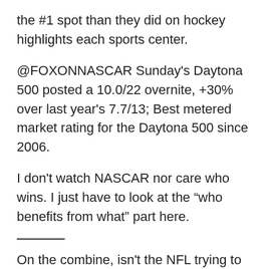the #1 spot than they did on hockey highlights each sports center.
@FOXONNASCAR Sunday's Daytona 500 posted a 10.0/22 overnite, +30% over last year's 7.7/13; Best metered market rating for the Daytona 500 since 2006.
I don't watch NASCAR nor care who wins. I just have to look at the “who benefits from what” part here.
On the combine, isn't the NFL trying to